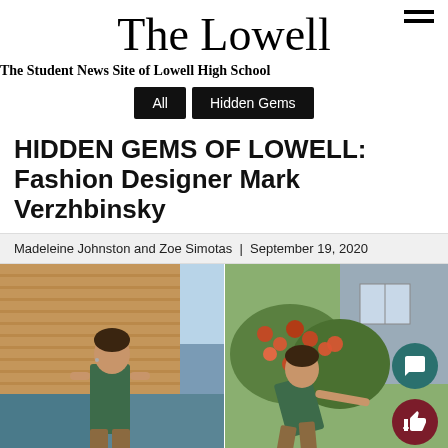The Lowell
The Student News Site of Lowell High School
All  Hidden Gems
HIDDEN GEMS OF LOWELL: Fashion Designer Mark Verzhbinsky
Madeleine Johnston and Zoe Simotas | September 19, 2020
[Figure (photo): Two photos side by side of a young person wearing a green tank top, posing outdoors near a wooden shingle building and colorful bushes. The left photo shows them facing slightly away, the right shows them leaning forward gesturing. Two circular icon buttons (chat and like) are overlaid on the bottom right.]